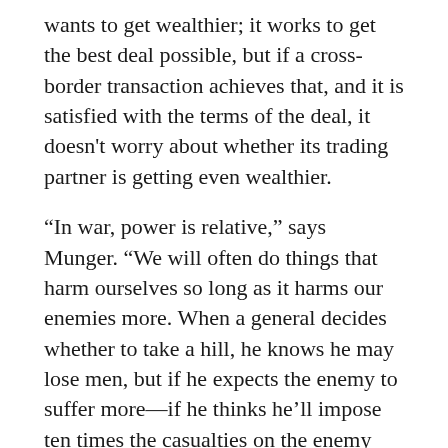wants to get wealthier; it works to get the best deal possible, but if a cross-border transaction achieves that, and it is satisfied with the terms of the deal, it doesn't worry about whether its trading partner is getting even wealthier.
“In war, power is relative,” says Munger. “We will often do things that harm ourselves so long as it harms our enemies more. When a general decides whether to take a hill, he knows he may lose men, but if he expects the enemy to suffer more—if he thinks he’ll impose ten times the casualties on the enemy and win the hill—it may be the right decision.